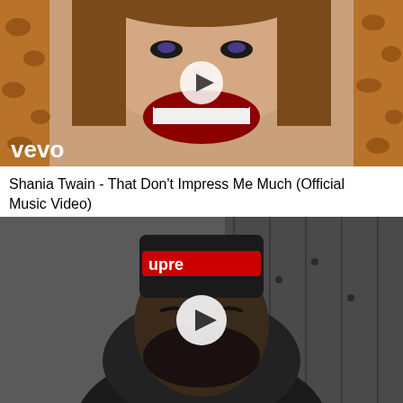[Figure (screenshot): Video thumbnail for Shania Twain - That Don't Impress Me Much. Shows a woman with brown hair, red lipstick, smiling, wearing leopard print. Vevo logo in bottom left. Play button overlay in center.]
Shania Twain - That Don't Impress Me Much (Official Music Video)
[Figure (screenshot): Video thumbnail showing a man wearing a Supreme beanie and hoodie, black and white photo, laughing/squinting. Play button overlay in center.]